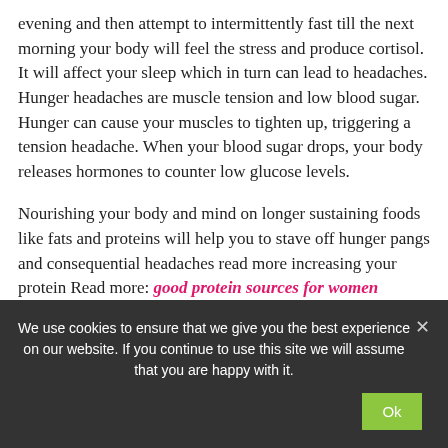evening and then attempt to intermittently fast till the next morning your body will feel the stress and produce cortisol. It will affect your sleep which in turn can lead to headaches. Hunger headaches are muscle tension and low blood sugar. Hunger can cause your muscles to tighten up, triggering a tension headache. When your blood sugar drops, your body releases hormones to counter low glucose levels.
Nourishing your body and mind on longer sustaining foods like fats and proteins will help you to stave off hunger pangs and consequential headaches read more increasing your protein Read more: good protein sources for women
We use cookies to ensure that we give you the best experience on our website. If you continue to use this site we will assume that you are happy with it.